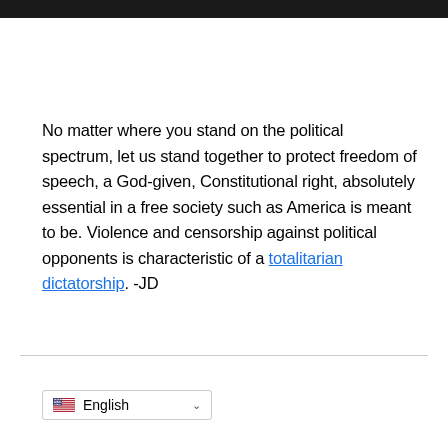[Figure (photo): Dark image bar at the top of the page]
No matter where you stand on the political spectrum, let us stand together to protect freedom of speech, a God-given, Constitutional right, absolutely essential in a free society such as America is meant to be. Violence and censorship against political opponents is characteristic of a totalitarian dictatorship.  -JD
English (language selector with US flag and dropdown chevron)